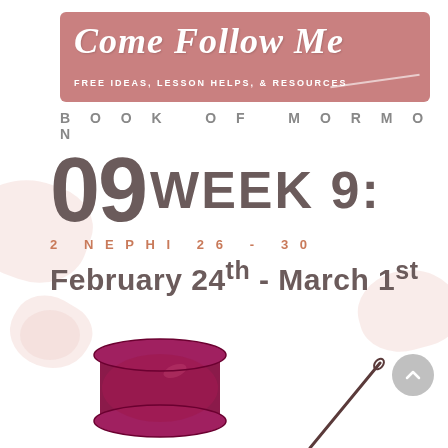[Figure (logo): Come Follow Me banner with cursive title, subtitle 'FREE IDEAS, LESSON HELPS, & RESOURCES', on a rose/mauve background]
BOOK OF MORMON
09 WEEK 9:
2 NEPHI 26 - 30
February 24th - March 1st
[Figure (illustration): Thread spool in dark magenta/crimson color and a needle, decorative elements at bottom of page]